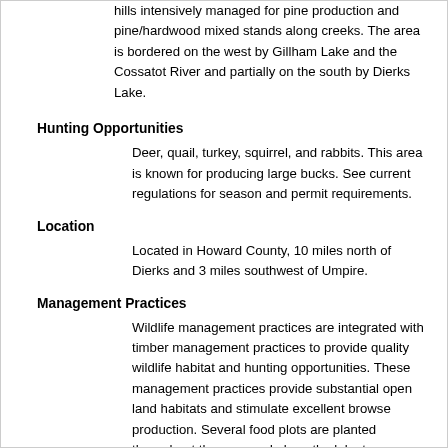hills intensively managed for pine production and pine/hardwood mixed stands along creeks. The area is bordered on the west by Gillham Lake and the Cossatot River and partially on the south by Dierks Lake.
Hunting Opportunities
Deer, quail, turkey, squirrel, and rabbits. This area is known for producing large bucks. See current regulations for season and permit requirements.
Location
Located in Howard County, 10 miles north of Dierks and 3 miles southwest of Umpire.
Management Practices
Wildlife management practices are integrated with timber management practices to provide quality wildlife habitat and hunting opportunities. These management practices provide substantial open land habitats and stimulate excellent browse production. Several food plots are planted throughout the area and along the lake to supplement natural browse.